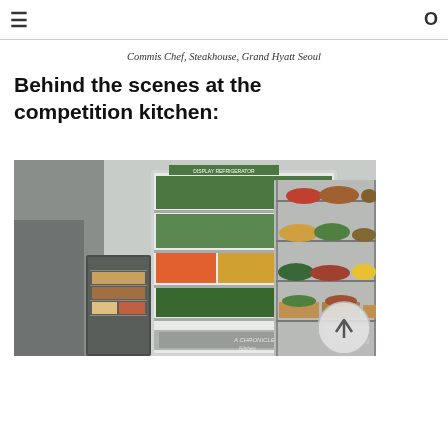≡  Commis Chef, Steakhouse, Grand Hyatt Seoul  O
Commis Chef, Steakhouse, Grand Hyatt Seoul
Behind the scenes at the competition kitchen:
[Figure (photo): Competition kitchen interior showing a large open refrigerated display unit stocked with vegetables and greens, a smaller refrigerator unit, and a metal wire shelving rack holding various fresh produce and ingredients in wooden crates.]